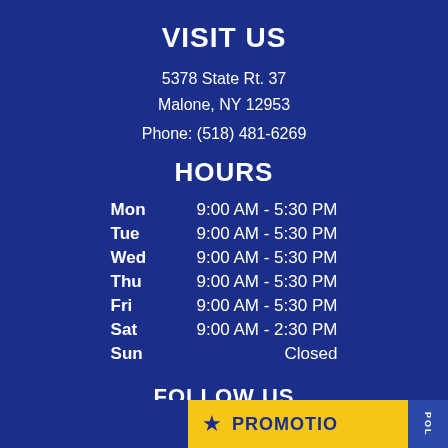VISIT US
5378 State Rt. 37
Malone, NY 12953
Phone: (518) 481-6269
HOURS
| Day | Hours |
| --- | --- |
| Mon | 9:00 AM - 5:30 PM |
| Tue | 9:00 AM - 5:30 PM |
| Wed | 9:00 AM - 5:30 PM |
| Thu | 9:00 AM - 5:30 PM |
| Fri | 9:00 AM - 5:30 PM |
| Sat | 9:00 AM - 2:30 PM |
| Sun | Closed |
FOLLOW US
[Figure (illustration): Social media icons: Facebook, Twitter, Instagram]
VISIT OUR SIST